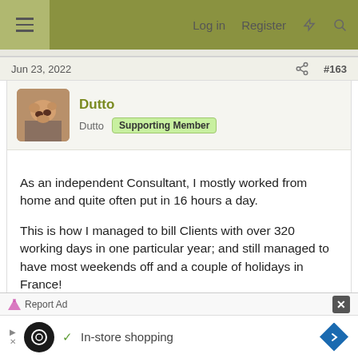Log in  Register
Jun 23, 2022  #163
Dutto
Dutto  Supporting Member
As an independent Consultant, I mostly worked from home and quite often put in 16 hours a day.

This is how I managed to bill Clients with over 320 working days in one particular year; and still managed to have most weekends off and a couple of holidays in France!

Many times I would wake SWMBO at 5am and ask her to wake me up before she went to work, because I had
Report Ad  In-store shopping